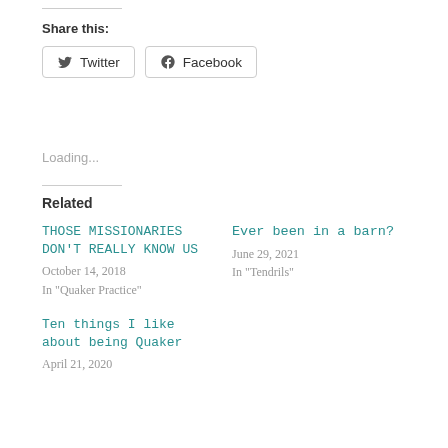Share this:
Twitter  Facebook
Loading...
Related
THOSE MISSIONARIES DON'T REALLY KNOW US
October 14, 2018
In "Quaker Practice"
Ever been in a barn?
June 29, 2021
In "Tendrils"
Ten things I like about being Quaker
April 21, 2020